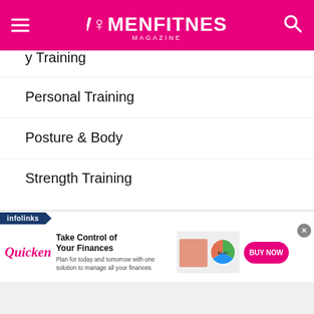Women Fitness Magazine
Personal Training
Posture & Body
Strength Training
[Figure (screenshot): Quicken advertisement with text 'Take Control of Your Finances. Plan for today and tomorrow with one solution to manage all your finances.' with BUY NOW button and infolinks badge.]